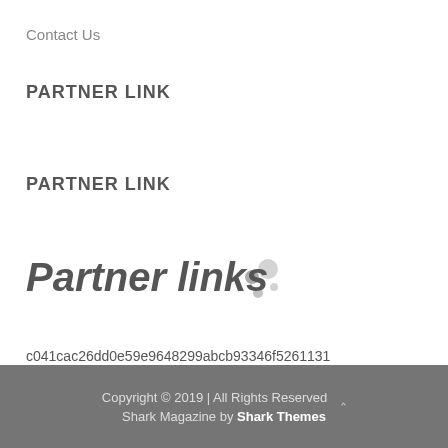Contact Us
PARTNER LINK
PARTNER LINK
Partner links
c041cac26dd0e59e9648299abcb93346f5261131
Copyright © 2019 | All Rights Reserved Shark Magazine by Shark Themes